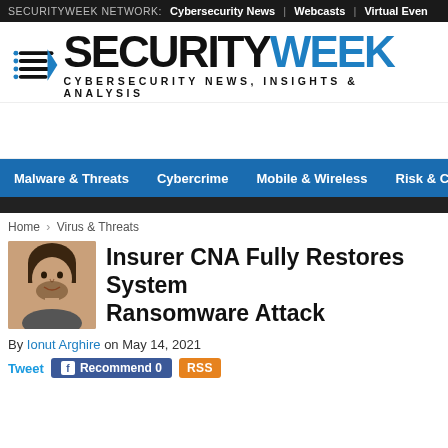SECURITYWEEK NETWORK: Cybersecurity News | Webcasts | Virtual Even
[Figure (logo): SecurityWeek logo with speed-lines icon, text SECURITY in black and WEEK in blue, tagline CYBERSECURITY NEWS, INSIGHTS & ANALYSIS]
[Figure (other): Advertisement area (blank white space)]
Malware & Threats  Cybercrime  Mobile & Wireless  Risk & Complia
Home › Virus & Threats
Insurer CNA Fully Restores System Ransomware Attack
By Ionut Arghire on May 14, 2021
Tweet  Recommend 0  RSS